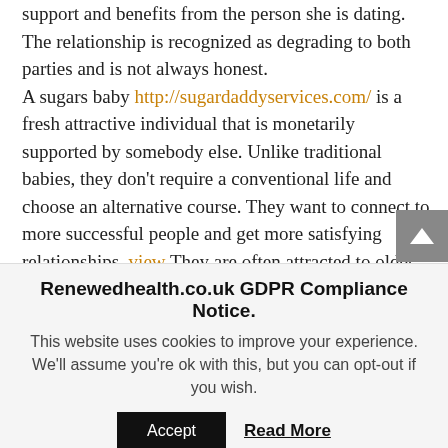support and benefits from the person she is dating. The relationship is recognized as degrading to both parties and is not always honest.

A sugars baby http://sugardaddyservices.com/ is a fresh attractive individual that is monetarily supported by somebody else. Unlike traditional babies, they don't require a conventional life and choose an alternative course. They want to connect to more successful people and get more satisfying relationships. view They are often attracted to older and even more mature guys who are willing to go out with them. The sugars baby description is a complicated one, nevertheless the truth is
Renewedhealth.co.uk GDPR Compliance Notice.
This website uses cookies to improve your experience. We'll assume you're ok with this, but you can opt-out if you wish.
Accept   Read More